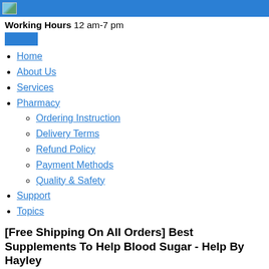Working Hours 12 am-7 pm
Home
About Us
Services
Pharmacy
Ordering Instruction
Delivery Terms
Refund Policy
Payment Methods
Quality & Safety
Support
Topics
[Free Shipping On All Orders] Best Supplements To Help Blood Sugar - Help By Hayley
Diabetic Morning Blood Sugar Goal best supplements to help blood sugar Pickle Juice Lower Blood Sugar Type 1, overnight fast blood sugar level.
That day, only one fifth of the original body was left, and he flew